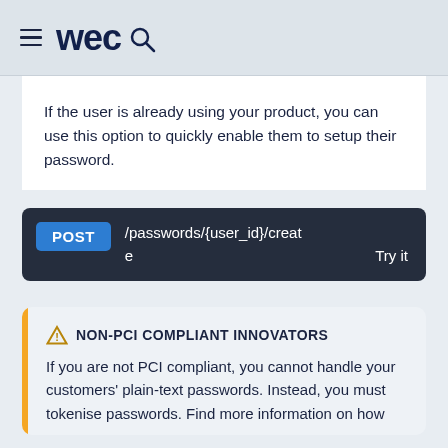wec (logo with hamburger menu and search icon)
If the user is already using your product, you can use this option to quickly enable them to setup their password.
[Figure (screenshot): Dark API endpoint box showing: POST /passwords/{user_id}/create  Try it]
NON-PCI COMPLIANT INNOVATORS
If you are not PCI compliant, you cannot handle your customers' plain-text passwords. Instead, you must tokenise passwords. Find more information on how